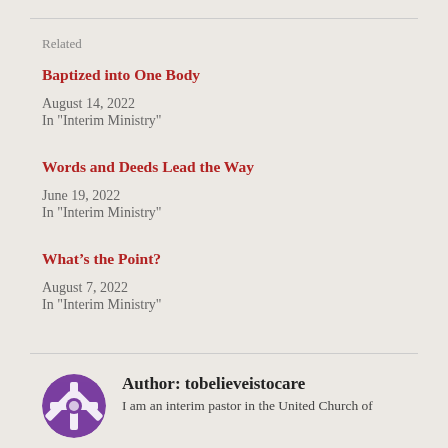Related
Baptized into One Body
August 14, 2022
In "Interim Ministry"
Words and Deeds Lead the Way
June 19, 2022
In "Interim Ministry"
What’s the Point?
August 7, 2022
In "Interim Ministry"
Author: tobelieveistocare
I am an interim pastor in the United Church of